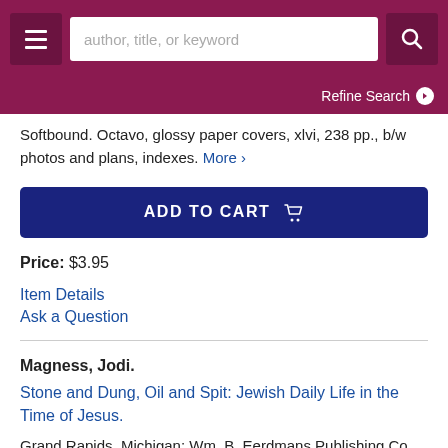author, title, or keyword | Refine Search
Softbound. Octavo, glossy paper covers, xlvi, 238 pp., b/w photos and plans, indexes. More >
[Figure (other): ADD TO CART button]
Price: $3.95
Item Details
Ask a Question
Magness, Jodi.
Stone and Dung, Oil and Spit: Jewish Daily Life in the Time of Jesus.
Grand Rapids, Michigan: Wm. B. Eerdmans Publishing Co., 2011.